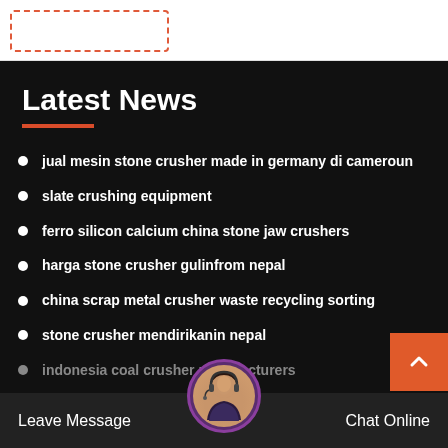Latest News
jual mesin stone crusher made in germany di cameroun
slate crushing equipment
ferro silicon calcium china stone jaw crushers
harga stone crusher gulinfrom nepal
china scrap metal crusher waste recycling sorting
stone crusher mendirikanin nepal
indonesia coal crusher manufacturers
30 tph crushing plant in egypt
Leave Message   Chat Online